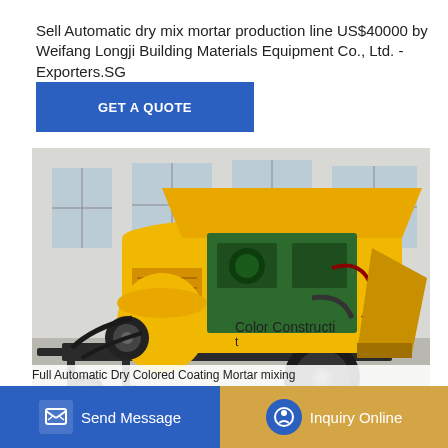Sell Automatic dry mix mortar production line US$40000 by Weifang Longji Building Materials Equipment Co., Ltd. - Exporters.SG
[Figure (other): Blue button with text GET A QUOTE]
[Figure (photo): Yellow automatic dry mix mortar production machine on wheels with open hood showing green engine, photographed in an industrial building]
Full Automatic Dry Colored Coating Mortar mixing
Full Automatic Dry Colored Coating Mortar mixing